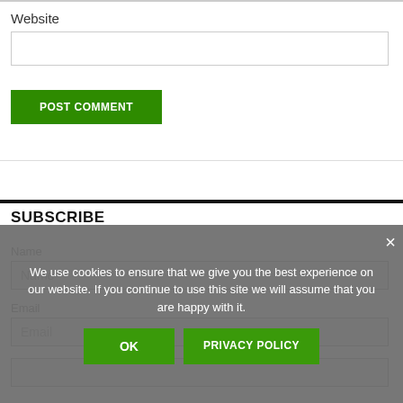Website
POST COMMENT
SUBSCRIBE
Name
Name
Email
Email
We use cookies to ensure that we give you the best experience on our website. If you continue to use this site we will assume that you are happy with it.
OK
PRIVACY POLICY